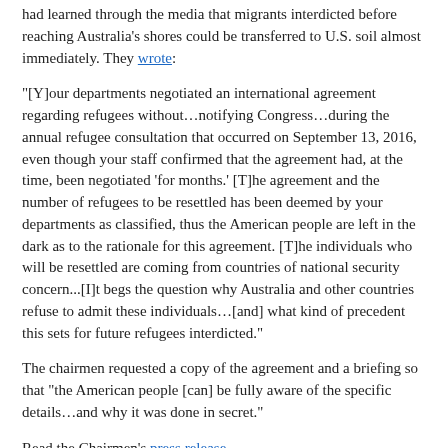had learned through the media that migrants interdicted before reaching Australia's shores could be transferred to U.S. soil almost immediately. They wrote:
“[Y]our departments negotiated an international agreement regarding refugees without…notifying Congress…during the annual refugee consultation that occurred on September 13, 2016, even though your staff confirmed that the agreement had, at the time, been negotiated ‘for months.’ [T]he agreement and the number of refugees to be resettled has been deemed by your departments as classified, thus the American people are left in the dark as to the rationale for this agreement. [T]he individuals who will be resettled are coming from countries of national security concern...[I]t begs the question why Australia and other countries refuse to admit these individuals…[and] what kind of precedent this sets for future refugees interdicted.”
The chairmen requested a copy of the agreement and a briefing so that “the American people [can] be fully aware of the specific details…and why it was done in secret.”
Read the Chairmen’s press release.
Updated: Wed, Dec 7th 2016 @ 12:00pm EST